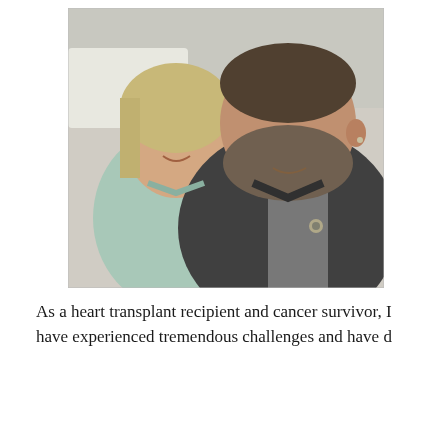[Figure (photo): A smiling couple taking a selfie in what appears to be a hospital setting. A woman with light hair wearing a light blue top leans her head against a bearded man wearing a dark jacket over a grey shirt.]
As a heart transplant recipient and cancer survivor, I have experienced tremendous challenges and have d